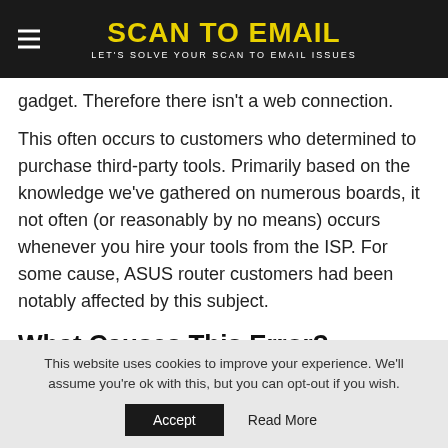SCAN TO EMAIL — LET'S SOLVE YOUR SCAN TO EMAIL ISSUES
gadget. Therefore there isn't a web connection.
This often occurs to customers who determined to purchase third-party tools. Primarily based on the knowledge we've gathered on numerous boards, it not often (or reasonably by no means) occurs whenever you hire your tools from the ISP. For some cause, ASUS router customers had been notably affected by this subject.
What Causes This Error?
This website uses cookies to improve your experience. We'll assume you're ok with this, but you can opt-out if you wish.